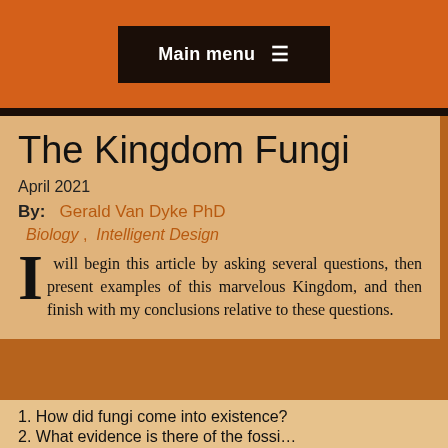Main menu ☰
The Kingdom Fungi
April 2021
By:   Gerald Van Dyke PhD
Biology ,   Intelligent Design
I will begin this article by asking several questions, then present examples of this marvelous Kingdom, and then finish with my conclusions relative to these questions.
1. How did fungi come into existence?
2. What evidence is there of...